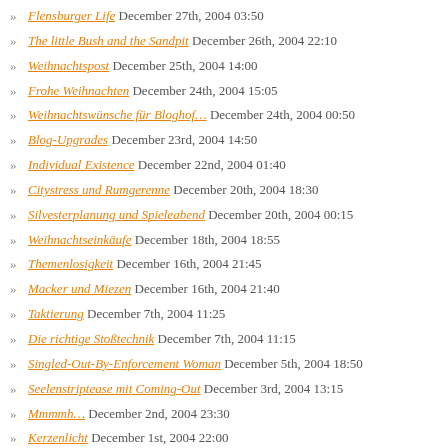» Flensburger Life December 27th, 2004 03:50
» The little Bush and the Sandpit December 26th, 2004 22:10
» Weihnachtspost December 25th, 2004 14:00
» Frohe Weihnachten December 24th, 2004 15:05
» Weihnachtswünsche für Bloghof… December 24th, 2004 00:50
» Blog-Upgrades December 23rd, 2004 14:50
» Individual Existence December 22nd, 2004 01:40
» Citystress und Rumgerenne December 20th, 2004 18:30
» Silvesterplanung und Spieleabend December 20th, 2004 00:15
» Weihnachtseinkäufe December 18th, 2004 18:55
» Themenlosigkeit December 16th, 2004 21:45
» Macker und Miezen December 16th, 2004 21:40
» Taktierung December 7th, 2004 11:25
» Die richtige Stoßtechnik December 7th, 2004 11:15
» Singled-Out-By-Enforcement Woman December 5th, 2004 18:50
» Seelenstriptease mit Coming-Out December 3rd, 2004 13:15
» Mmmmh… December 2nd, 2004 23:30
» Kerzenlicht December 1st, 2004 22:00